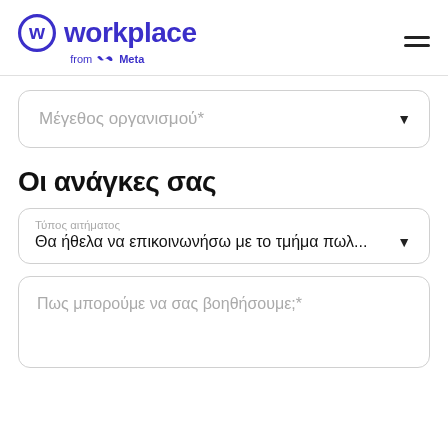[Figure (logo): Workplace from Meta logo with circular W icon]
Μέγεθος οργανισμού*
Οι ανάγκες σας
Τύπος αιτήματος
Θα ήθελα να επικοινωνήσω με το τμήμα πωλ...
Πως μπορούμε να σας βοηθήσουμε;*